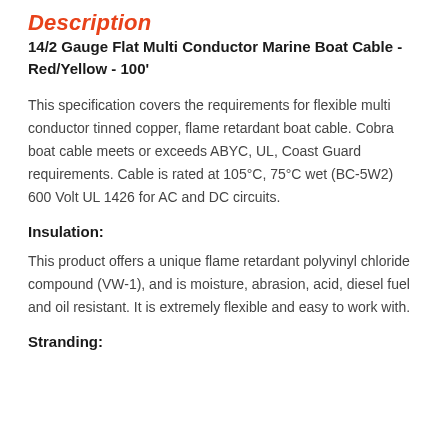Description
14/2 Gauge Flat Multi Conductor Marine Boat Cable - Red/Yellow - 100'
This specification covers the requirements for flexible multi conductor tinned copper, flame retardant boat cable. Cobra boat cable meets or exceeds ABYC, UL, Coast Guard requirements. Cable is rated at 105°C, 75°C wet (BC-5W2) 600 Volt UL 1426 for AC and DC circuits.
Insulation:
This product offers a unique flame retardant polyvinyl chloride compound (VW-1), and is moisture, abrasion, acid, diesel fuel and oil resistant. It is extremely flexible and easy to work with.
Stranding: